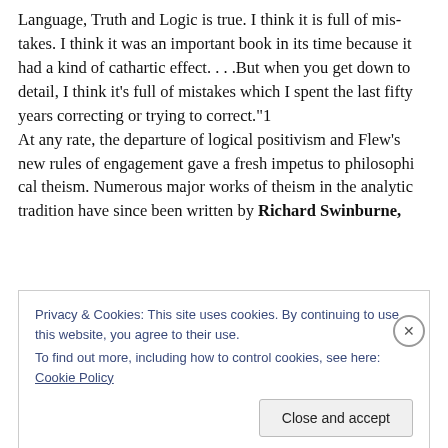Language, Truth and Logic is true. I think it is full of mistakes. I think it was an important book in its time because it had a kind of cathartic effect. . . .But when you get down to detail, I think it's full of mistakes which I spent the last fifty years correcting or trying to correct.”1 At any rate, the departure of logical positivism and Flew’s new rules of engagement gave a fresh impetus to philosophical theism. Numerous major works of theism in the analytic tradition have since been written by Richard Swinburne,
Privacy & Cookies: This site uses cookies. By continuing to use this website, you agree to their use. To find out more, including how to control cookies, see here: Cookie Policy